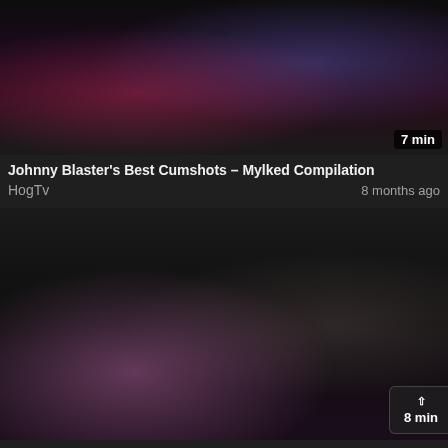[Figure (screenshot): Video thumbnail for first card, dark toned image]
Johnny Blaster's Best Cumshots – Mylked Compilation
HogTv
8 months ago
[Figure (screenshot): Video thumbnail for second card, pink-toned dark image]
She loves dicks more than lollipops
HogTv
8 months ago